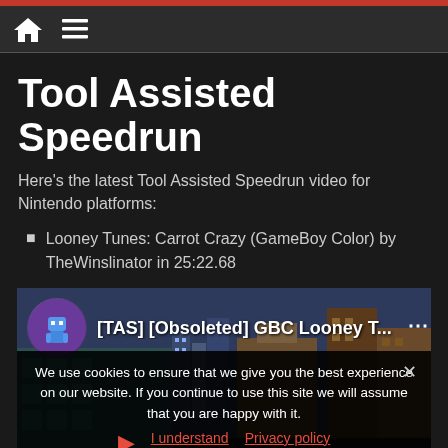Tool Assisted Speedrun — navigation bar with home icon and hamburger menu
Tool Assisted Speedrun
Here's the latest Tool Assisted Speedrun video for Nintendo platforms:
Looney Tunes: Carrot Crazy (GameBoy Color) by TheWinslinator in 25:22.68
[Figure (screenshot): YouTube video thumbnail showing [TAS] [Obsoleted] GBC Looney T... with a pixel-art city background and a channel avatar of a blue robot character]
We use cookies to ensure that we give you the best experience on our website. If you continue to use this site we will assume that you are happy with it.
I understand   Privacy policy